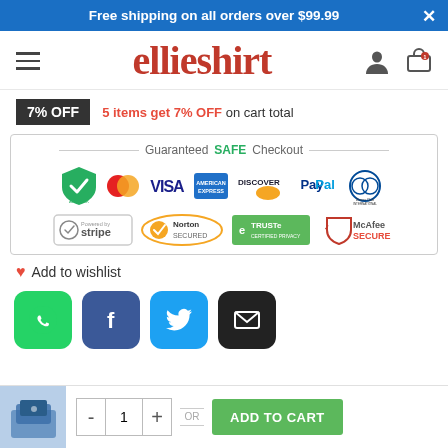Free shipping on all orders over $99.99
[Figure (logo): ellieshirt logo in red serif font with hamburger menu icon on left and user/cart icons on right]
7% OFF  5 items get 7% OFF on cart total
[Figure (infographic): Guaranteed SAFE Checkout section with payment logos: AES 256K, Mastercard, VISA, American Express, Discover, PayPal, Diners Club International, Powered by Stripe, Norton Secured, TRUSTe Certified Privacy, McAfee Secure]
Add to wishlist
[Figure (infographic): Social share buttons: WhatsApp (green), Facebook (dark blue), Twitter (light blue), Email (black)]
[Figure (infographic): Bottom bar with product thumbnail, quantity selector (- 1 +), OR label, and ADD TO CART green button]